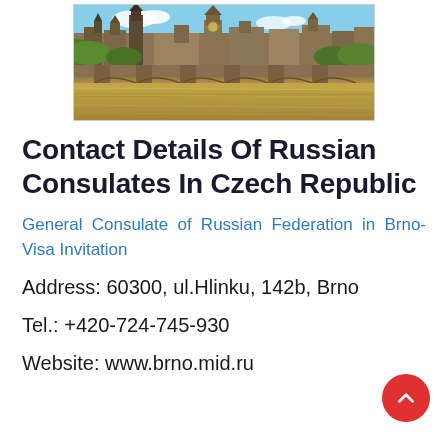[Figure (photo): Photograph of Charles Bridge and Prague cityscape with river reflection]
Contact Details Of Russian Consulates In Czech Republic
General Consulate of Russian Federation in Brno-Visa Invitation
Address: 60300, ul.Hlinku, 142b, Brno
Tel.: +420-724-745-930
Website: www.brno.mid.ru